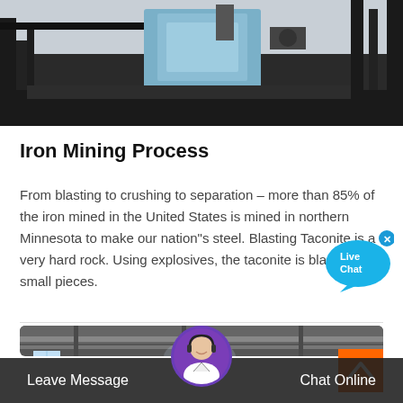[Figure (photo): Industrial mining equipment with metallic machinery components, cranes and steel structures photographed indoors.]
Iron Mining Process
From blasting to crushing to separation – more than 85% of the iron mined in the United States is mined in northern Minnesota to make our nation"s steel. Blasting Taconite is a very hard rock. Using explosives, the taconite is blasted into small pieces.
[Figure (photo): Industrial interior of a mining facility with overhead cranes, large rollers and conveyor equipment.]
[Figure (photo): Customer service avatar: woman with headset smiling.]